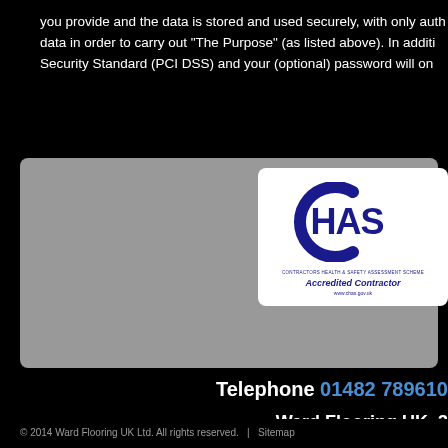you provide and the data is stored and used securely, with only authorized personnel accessing the data in order to carry out "The Purpose" (as listed above). In addition, we comply with the Payment Card Security Standard (PCI DSS) and your (optional) password will on
[Figure (logo): CHAS - Contractors Health & Safety Assessment Scheme. Accredited Contractor badge with CHAS logo. www.chas.gov.uk]
Telephone 01482 789610
Ward Flooring UK, 3
© 2014 Ward Flooring UK Ltd. All rights reserved.  |  Sitemap